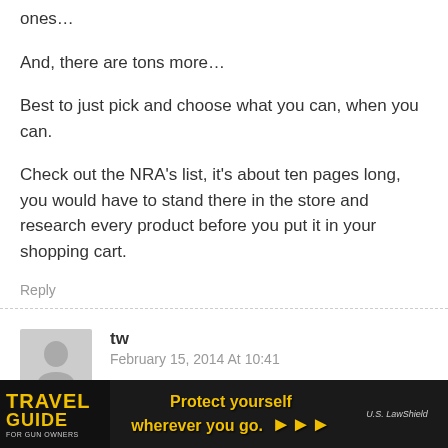ones…
And, there are tons more…
Best to just pick and choose what you can, when you can.
Check out the NRA's list, it's about ten pages long, you would have to stand there in the store and research every product before you put it in your shopping cart.
Reply
[Figure (illustration): Generic user avatar placeholder silhouette in grey]
tw
February 15, 2014 At 10:41
So? What has convenience to do with
porting those
[Figure (other): Travel Guide for Gun Owners advertisement banner with text 'Protect yourself wherever you go.' and U.S. LawShield branding]